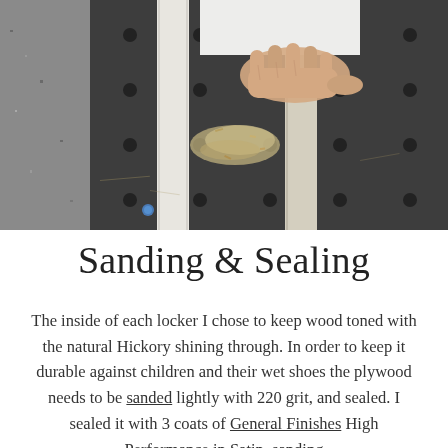[Figure (photo): Overhead view of a person's hand sanding or working on a white painted wood piece on a dark perforated workbench surface. Wood shavings/dust visible. Person wearing white sleeve visible at top.]
Sanding & Sealing
The inside of each locker I chose to keep wood toned with the natural Hickory shining through. In order to keep it durable against children and their wet shoes the plywood needs to be sanded lightly with 220 grit, and sealed. I sealed it with 3 coats of General Finishes High Performance in Satin, sanding